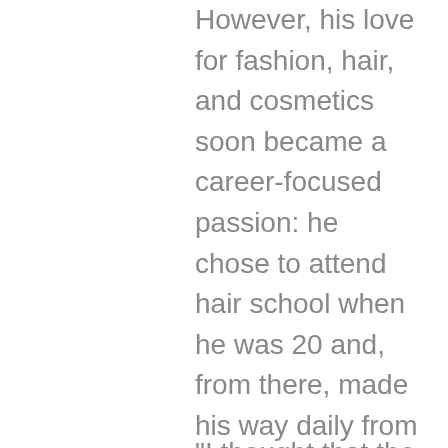However, his love for fashion, hair, and cosmetics soon became a career-focused passion: he chose to attend hair school when he was 20 and, from there, made his way daily from Lake Cowichan to Victoria by bus to complete his classes.
“I thought that the hair industry would be glamorous,” Felice says wryly. “And it was: we used to wear a shirt and tie whenever we did hair back in the day. I started working for a couple of hairdressers early on and after a while, one of them asked me if I wanted to officially go into business with him as a co-owner, which is the story of how I